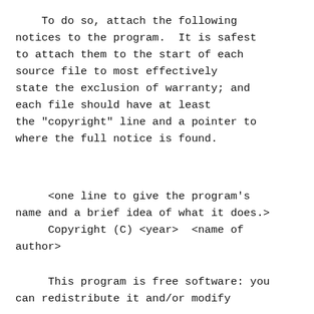To do so, attach the following notices to the program.  It is safest to attach them to the start of each source file to most effectively state the exclusion of warranty; and each file should have at least the "copyright" line and a pointer to where the full notice is found.
<one line to give the program's name and a brief idea of what it does.>
     Copyright (C) <year>  <name of author>
This program is free software: you can redistribute it and/or modify